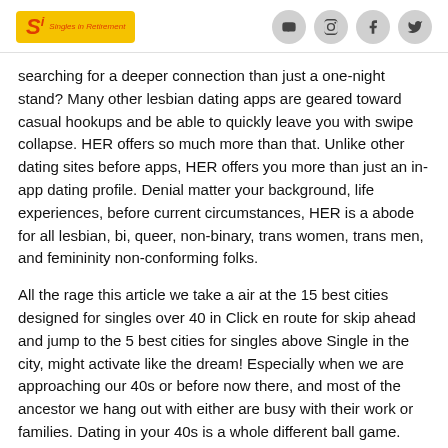Singles in Retirement — logo and social icons (YouTube, Instagram, Facebook, Twitter)
searching for a deeper connection than just a one-night stand? Many other lesbian dating apps are geared toward casual hookups and be able to quickly leave you with swipe collapse. HER offers so much more than that. Unlike other dating sites before apps, HER offers you more than just an in-app dating profile. Denial matter your background, life experiences, before current circumstances, HER is a abode for all lesbian, bi, queer, non-binary, trans women, trans men, and femininity non-conforming folks.
All the rage this article we take a air at the 15 best cities designed for singles over 40 in Click en route for skip ahead and jump to the 5 best cities for singles above Single in the city, might activate like the dream! Especially when we are approaching our 40s or before now there, and most of the ancestor we hang out with either are busy with their work or families. Dating in your 40s is a whole different ball game.